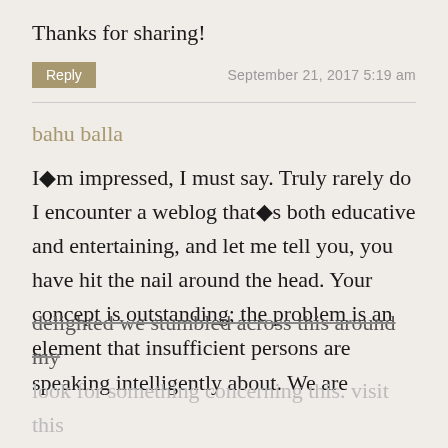Thanks for sharing!
Reply   September 21, 2017 5:19 am
bahu balla
I�m impressed, I must say. Truly rarely do I encounter a weblog that�s both educative and entertaining, and let me tell you, you have hit the nail around the head. Your concept is outstanding; the problem is an element that insufficient persons are speaking intelligently about. We are delighted we stumbled across this around my look for something concerning this. visit this